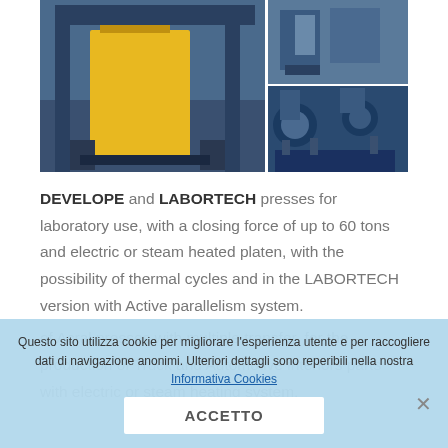[Figure (photo): Industrial press machines in a factory setting. Left: large blue and yellow hydraulic press. Top right: blue industrial machinery. Bottom right: blue hydraulic power unit with cylinders.]
DEVELOPE and LABORTECH presses for laboratory use, with a closing force of up to 60 tons and electric or steam heated platen, with the possibility of thermal cycles and in the LABORTECH version with Active parallelism system.
Questo sito utilizza cookie per migliorare l'esperienza utente e per raccogliere dati di navigazione anonimi. Ulteriori dettagli sono reperibili nella nostra Informativa Cookies
ACCETTO